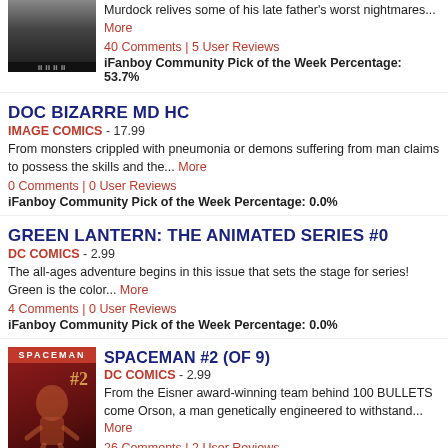[Figure (illustration): Daredevil comic book cover thumbnail, dark tones, partially cropped at top]
Murdock relives some of his late father's worst nightmares... More
40 Comments | 5 User Reviews
iFanboy Community Pick of the Week Percentage: 53.7%
DOC BIZARRE MD HC
IMAGE COMICS - 17.99
From monsters crippled with pneumonia or demons suffering from man claims to possess the skills and the... More
0 Comments | 0 User Reviews
iFanboy Community Pick of the Week Percentage: 0.0%
GREEN LANTERN: THE ANIMATED SERIES #0
DC COMICS - 2.99
The all-ages adventure begins in this issue that sets the stage for series! Green is the color... More
4 Comments | 0 User Reviews
iFanboy Community Pick of the Week Percentage: 0.0%
[Figure (illustration): Spaceman comic book cover thumbnail, red tones with figure]
SPACEMAN #2 (OF 9)
DC COMICS - 2.99
From the Eisner award-winning team behind 100 BULLETS come Orson, a man genetically engineered to withstand... More
26 Comments | 2 User Reviews
iFanboy Community Pick of the Week Percentage: 6.7%